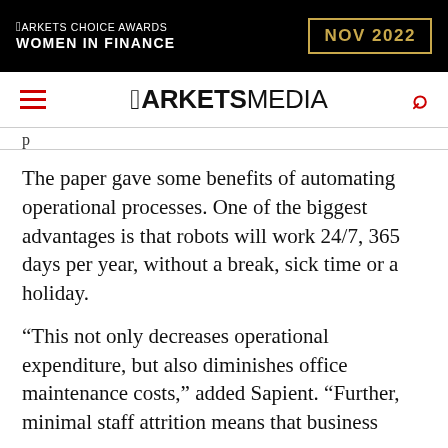[Figure (logo): Markets Choice Awards Women in Finance NOV 2022 advertisement banner on black background with gold border date box]
MARKETSMEDIA
p
The paper gave some benefits of automating operational processes. One of the biggest advantages is that robots will work 24/7, 365 days per year, without a break, sick time or a holiday.
“This not only decreases operational expenditure, but also diminishes office maintenance costs,” added Sapient. “Further, minimal staff attrition means that business